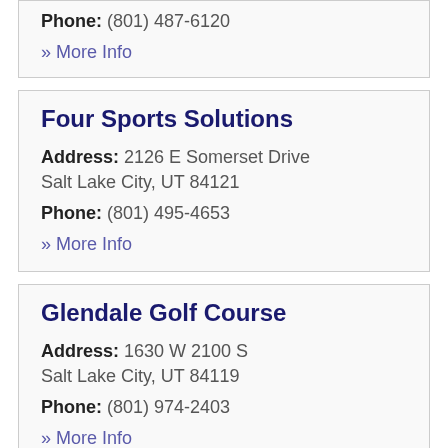Phone: (801) 487-6120
» More Info
Four Sports Solutions
Address: 2126 E Somerset Drive
Salt Lake City, UT 84121
Phone: (801) 495-4653
» More Info
Glendale Golf Course
Address: 1630 W 2100 S
Salt Lake City, UT 84119
Phone: (801) 974-2403
» More Info